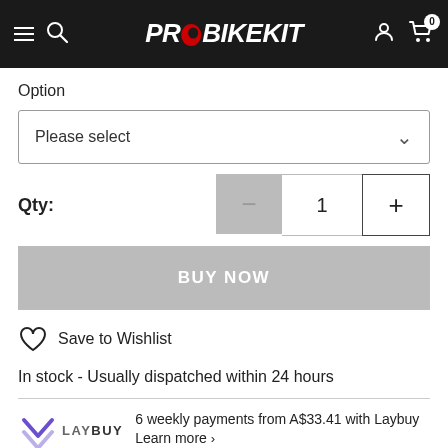[Figure (logo): ProBikeKit website header with hamburger menu, search icon, PRO BIKEKIT logo (white italic bold with red O), user account icon, and shopping cart icon showing 0 items]
Option
Please select
Qty:
1
BUY NOW
Save to Wishlist
In stock - Usually dispatched within 24 hours
6 weekly payments from A$33.41 with Laybuy Learn more ›